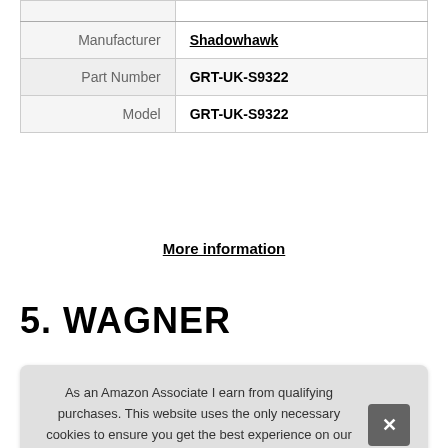| Field | Value |
| --- | --- |
| Manufacturer | Shadowhawk |
| Part Number | GRT-UK-S9322 |
| Model | GRT-UK-S9322 |
More information
5. WAGNER
As an Amazon Associate I earn from qualifying purchases. This website uses the only necessary cookies to ensure you get the best experience on our website. More information